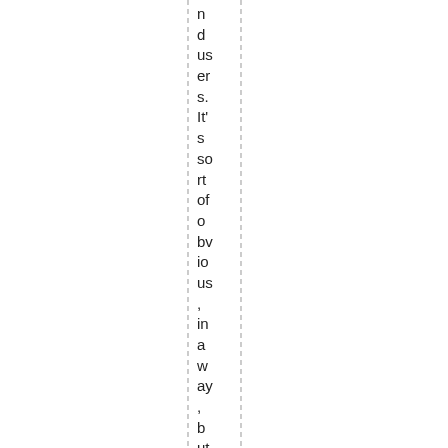nd users. It's sort of obvious, in a way, but it's easy for m